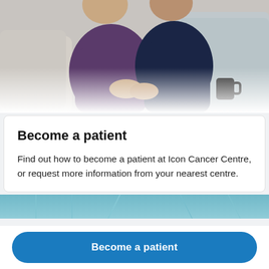[Figure (photo): Two elderly people sitting on a couch, one in a purple top with hands clasped, the other holding a dark mug, with grey cushions visible]
Become a patient
Find out how to become a patient at Icon Cancer Centre, or request more information from your nearest centre.
[Figure (photo): Partial view of a teal/blue interior room, possibly a cancer centre waiting area]
Become a patient